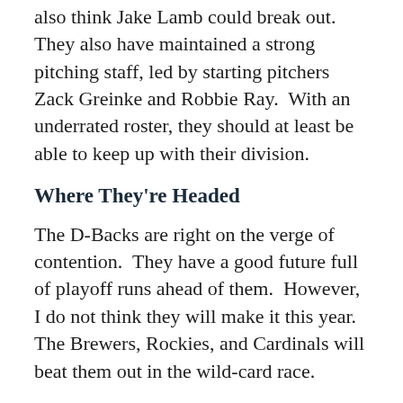also think Jake Lamb could break out.  They also have maintained a strong pitching staff, led by starting pitchers Zack Greinke and Robbie Ray.  With an underrated roster, they should at least be able to keep up with their division.
Where They're Headed
The D-Backs are right on the verge of contention.  They have a good future full of playoff runs ahead of them.  However, I do not think they will make it this year.  The Brewers, Rockies, and Cardinals will beat them out in the wild-card race.
Best Case Scenario: Arizona's young roster thrives, leading the Diamondbacks back to the